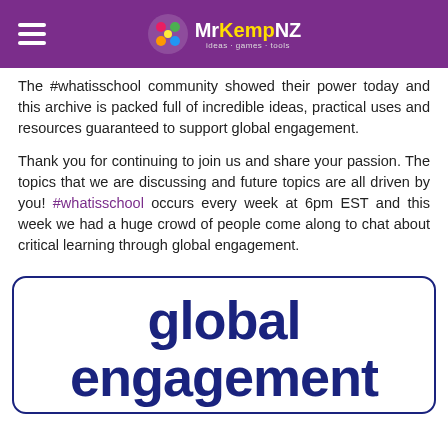MrKempNZ
The #whatisschool community showed their power today and this archive is packed full of incredible ideas, practical uses and resources guaranteed to support global engagement.
Thank you for continuing to join us and share your passion. The topics that we are discussing and future topics are all driven by you! #whatisschool occurs every week at 6pm EST and this week we had a huge crowd of people come along to chat about critical learning through global engagement.
global engagement